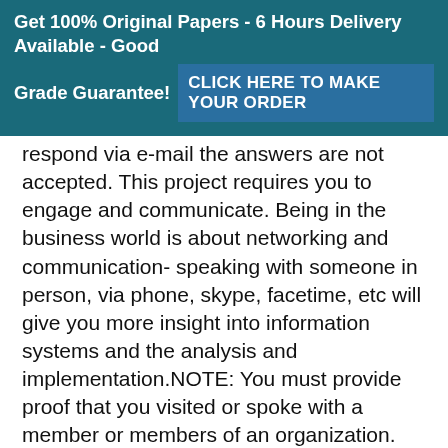Get 100% Original Papers - 6 Hours Delivery Available - Good Grade Guarantee! CLICK HERE TO MAKE YOUR ORDER
respond via e-mail the answers are not accepted. This project requires you to engage and communicate. Being in the business world is about networking and communication- speaking with someone in person, via phone, skype, facetime, etc will give you more insight into information systems and the analysis and implementation.NOTE: You must provide proof that you visited or spoke with a member or members of an organization. This can include an email to me from the person you interviewed (recommended), a copy of an email exchange between you and the interviewee setting up the interview and the time/place for the i...